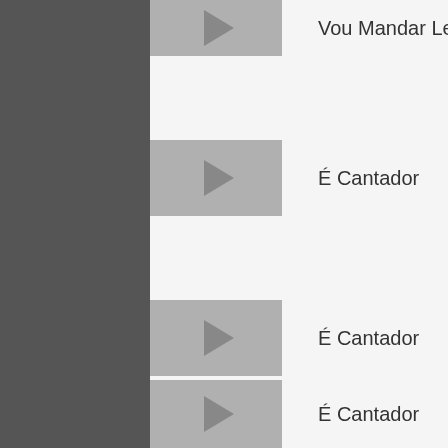Vou Mandar Leço Cajuc
É Cantador
É Cantador
É Cantador